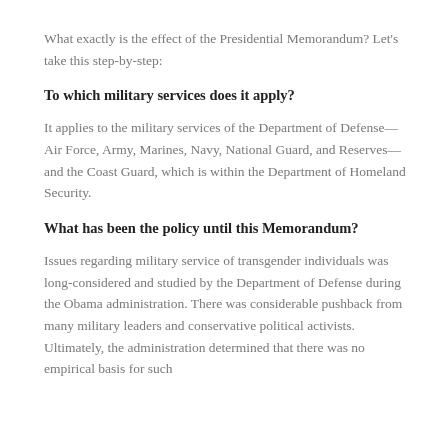What exactly is the effect of the Presidential Memorandum? Let's take this step-by-step:
To which military services does it apply?
It applies to the military services of the Department of Defense—Air Force, Army, Marines, Navy, National Guard, and Reserves—and the Coast Guard, which is within the Department of Homeland Security.
What has been the policy until this Memorandum?
Issues regarding military service of transgender individuals was long-considered and studied by the Department of Defense during the Obama administration. There was considerable pushback from many military leaders and conservative political activists. Ultimately, the administration determined that there was no empirical basis for such